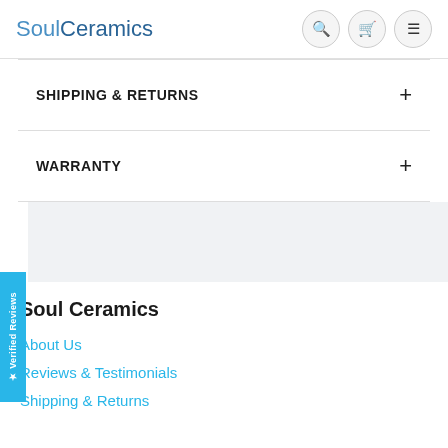SoulCeramics
SHIPPING & RETURNS
WARRANTY
Verified Reviews
Soul Ceramics
About Us
Reviews & Testimonials
Shipping & Returns